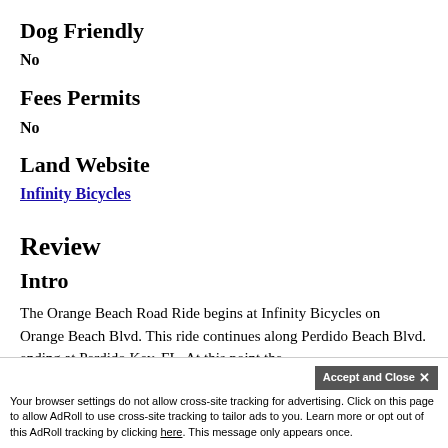Dog Friendly
No
Fees Permits
No
Land Website
Infinity Bicycles
Review
Intro
The Orange Beach Road Ride begins at Infinity Bicycles on Orange Beach Blvd. This ride continues along Perdido Beach Blvd. ending at Perdido Key, FL. At this point the 2... which include West Beach and the Hugh S. Branyon Backcountry Trails.